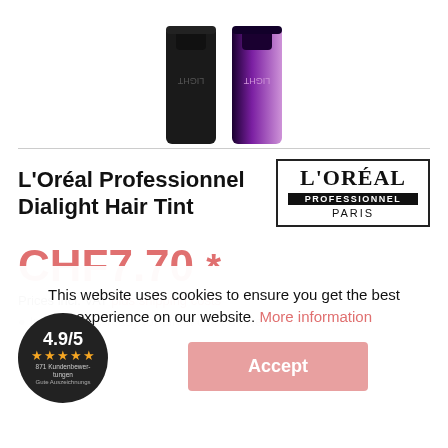[Figure (photo): Two L'Oréal Dialight hair tint tubes, one black and one with purple/pink gradient, partially cropped at top]
L'Oréal Professionnel Dialight Hair Tint
[Figure (logo): L'ORÉAL PROFESSIONNEL PARIS logo in black border box]
CHF7.70 *
Prices incl. VAT plus shipping costs
This website uses cookies to ensure you get the best experience on our website. More information
[Figure (other): Rating badge: 4.9/5 with 5 stars, 871 Kundenbewertungen, Gute Auszeichnungen]
Accept